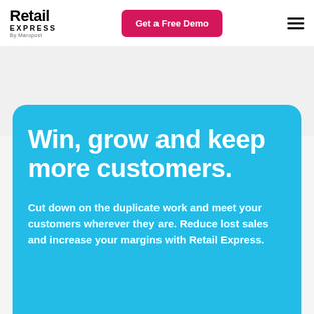Retail Express By Maropost | Get a Free Demo
Win, grow and keep more customers.
Cut down on the duplicate work and meet your customers wherever they are. Reduce lost sales and increase your margins with Retail Express.